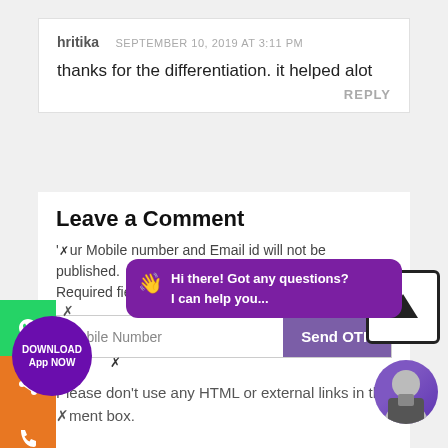hritika   SEPTEMBER 10, 2019 AT 3:11 PM
thanks for the differentiation. it helped alot
REPLY
Leave a Comment
Your Mobile number and Email id will not be published. Required fields are marked *
Mobile Number
Send OTP
Please don't use any HTML or external links in the comment box.
[Figure (screenshot): Chat bubble popup: 'Hi there! Got any questions? I can help you...' on purple background with waving hand emoji]
DOWNLOAD App NOW
[Figure (photo): Circular avatar photo of a man in suit on purple background]